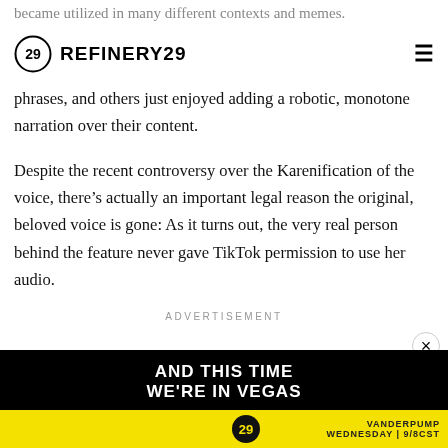became utilized in many different contexts and memes.
REFINERY29
phrases, and others just enjoyed adding a robotic, monotone narration over their content.
Despite the recent controversy over the Karenification of the voice, there’s actually an important legal reason the original, beloved voice is gone: As it turns out, the very real person behind the feature never gave TikTok permission to use her audio.
ADVERTISEMENT
[Figure (other): Advertisement banner at bottom with black background showing 'AND THIS TIME WE'RE IN VEGAS' text in white bold letters and a yellow bar below with graphical content]